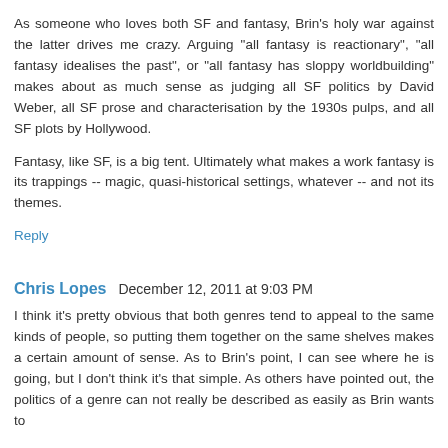As someone who loves both SF and fantasy, Brin's holy war against the latter drives me crazy. Arguing "all fantasy is reactionary", "all fantasy idealises the past", or "all fantasy has sloppy worldbuilding" makes about as much sense as judging all SF politics by David Weber, all SF prose and characterisation by the 1930s pulps, and all SF plots by Hollywood.
Fantasy, like SF, is a big tent. Ultimately what makes a work fantasy is its trappings -- magic, quasi-historical settings, whatever -- and not its themes.
Reply
Chris Lopes  December 12, 2011 at 9:03 PM
I think it's pretty obvious that both genres tend to appeal to the same kinds of people, so putting them together on the same shelves makes a certain amount of sense. As to Brin's point, I can see where he is going, but I don't think it's that simple. As others have pointed out, the politics of a genre can not really be described as easily as Brin wants to